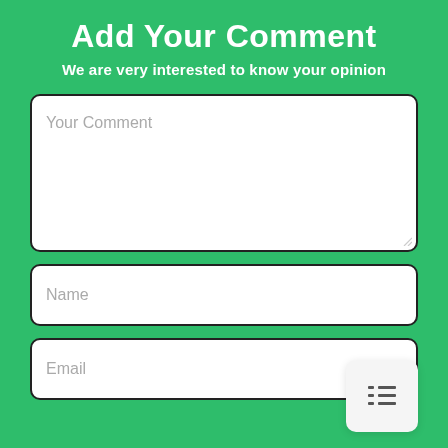Add Your Comment
We are very interested to know your opinion
[Figure (screenshot): A comment form with a large textarea labeled 'Your Comment', a text input labeled 'Name', a text input labeled 'Email', and a yellow submit button labeled 'Leave a Comment', all on a green background.]